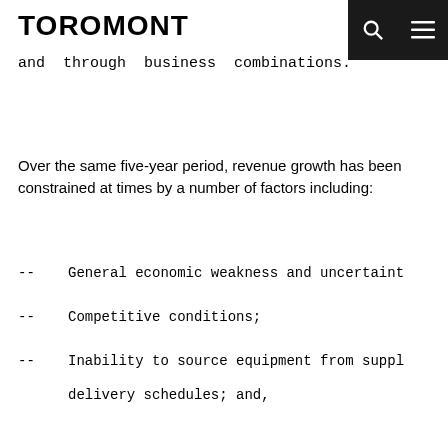TOROMONT
and through business combinations.
Over the same five-year period, revenue growth has been constrained at times by a number of factors including:
-- General economic weakness and uncertainty
-- Competitive conditions;
-- Inability to source equipment from suppliers on delivery schedules; and,